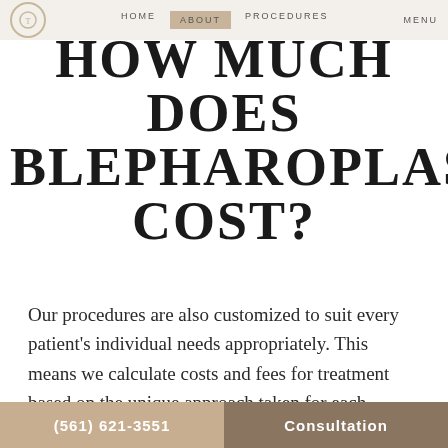HOW MUCH DOES BLEPHAROPLASTY COST?
HOW MUCH DOES BLEPHAROPLASTY COST?
Our procedures are also customized to suit every patient's individual needs appropriately. This means we calculate costs and fees for treatment based on the unique approach taken for each patient. This will always factor in technical needs, like the cost of Dr. Troiano and her team, and surgical equipment, and refined care in a luxurious
(561) 621-3551   Consultation